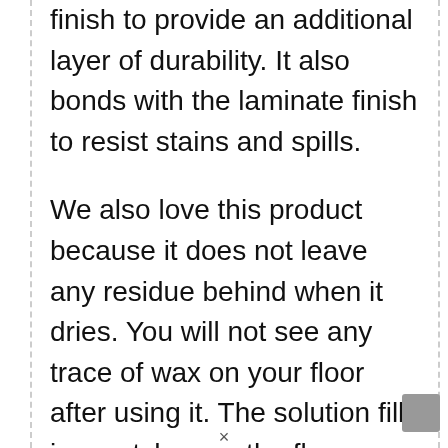finish to provide an additional layer of durability. It also bonds with the laminate finish to resist stains and spills.
We also love this product because it does not leave any residue behind when it dries. You will not see any trace of wax on your floor after using it. The solution fills in scratches on the floor, making the floor look brand new. It does an impressive job of restoring laminate